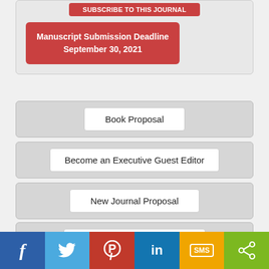SUBSCRIBE TO THIS JOURNAL
Manuscript Submission Deadline
September 30, 2021
Book Proposal
Become an Executive Guest Editor
New Journal Proposal
Become a Section Editor
Become a Reviewer
f  Twitter  Pinterest  in  SMS  Share